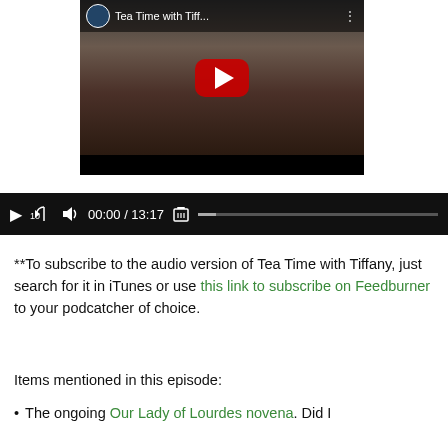[Figure (screenshot): YouTube video thumbnail showing 'Tea Time with Tiff...' with a woman sitting at a desk in front of a bookshelf, with a red YouTube play button overlay]
[Figure (screenshot): Audio player controls showing play button, back-10 button, volume icon, time 00:00 / 13:17, trash icon, and progress bar on black background]
**To subscribe to the audio version of Tea Time with Tiffany, just search for it in iTunes or use this link to subscribe on Feedburner to your podcatcher of choice.
Items mentioned in this episode:
The ongoing Our Lady of Lourdes novena. Did I